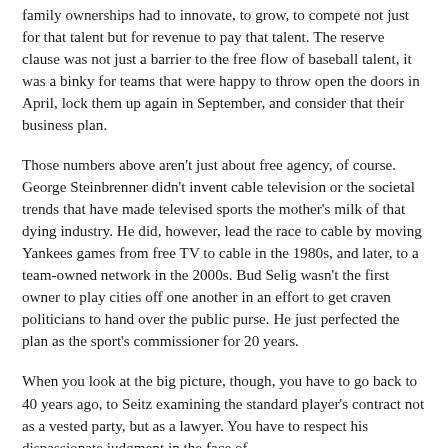family ownerships had to innovate, to grow, to compete not just for that talent but for revenue to pay that talent. The reserve clause was not just a barrier to the free flow of baseball talent, it was a binky for teams that were happy to throw open the doors in April, lock them up again in September, and consider that their business plan.
Those numbers above aren't just about free agency, of course. George Steinbrenner didn't invent cable television or the societal trends that have made televised sports the mother's milk of that dying industry. He did, however, lead the race to cable by moving Yankees games from free TV to cable in the 1980s, and later, to a team-owned network in the 2000s. Bud Selig wasn't the first owner to play cities off one another in an effort to get craven politicians to hand over the public purse. He just perfected the plan as the sport's commissioner for 20 years.
When you look at the big picture, though, you have to go back to 40 years ago, to Seitz examining the standard player's contract not as a vested party, but as a lawyer. You have to respect his dispassionate judgment in the face of